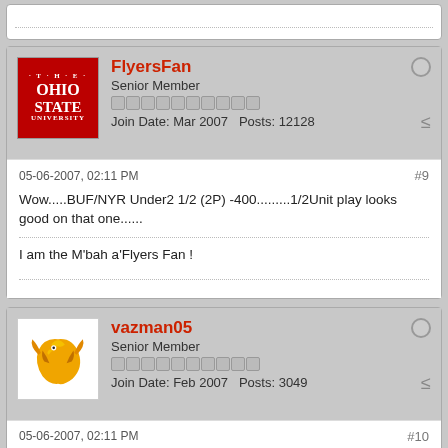(partial top post, dotted line visible)
FlyersFan
Senior Member
Join Date: Mar 2007  Posts: 12128
05-06-2007, 02:11 PM  #9
Wow.....BUF/NYR Under2 1/2 (2P) -400.........1/2Unit play looks good on that one......
I am the M'bah a'Flyers Fan !
vazman05
Senior Member
Join Date: Feb 2007  Posts: 3049
05-06-2007, 02:11 PM  #10